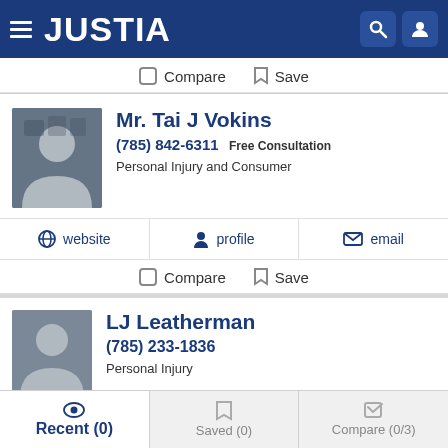JUSTIA
Compare  Save
Mr. Tai J Vokins
(785) 842-6311  Free Consultation
Personal Injury and Consumer
website   profile   email
Compare  Save
LJ Leatherman
(785) 233-1836
Personal Injury
Recent (0)   Saved (0)   Compare (0/3)